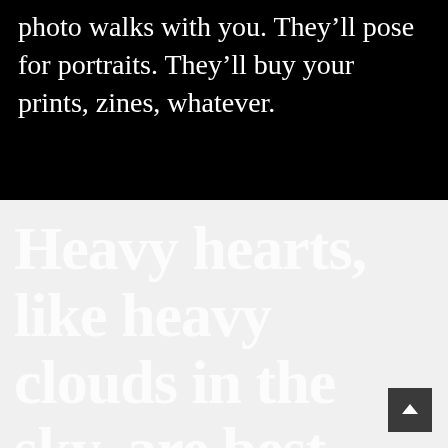photo walks with you. They'll pose for portraits. They'll buy your prints, zines, whatever.
Heavy hearts, like heavy clouds in the sky, are best relieved by the letting of a little